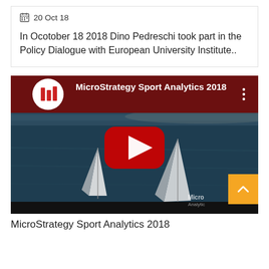20 Oct 18
In Ocotober 18 2018 Dino Pedreschi took part in the Policy Dialogue with European University Institute..
[Figure (screenshot): YouTube video thumbnail for MicroStrategy Sport Analytics 2018, showing sailboats on dark blue ocean water with a YouTube play button overlay and the MicroStrategy logo in the bottom right corner.]
MicroStrategy Sport Analytics 2018